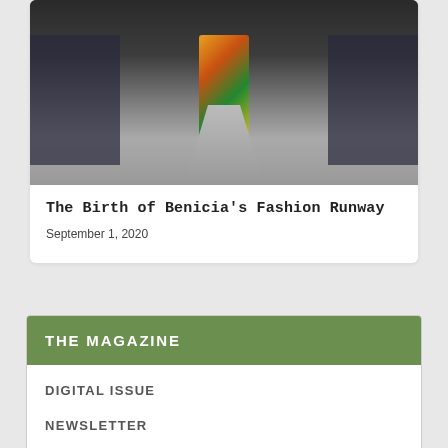[Figure (photo): Fashion runway photo showing a model walking down a runway in a colorful patterned outfit, with audience seated on both sides]
The Birth of Benicia's Fashion Runway
September 1, 2020
THE MAGAZINE
DIGITAL ISSUE
NEWSLETTER